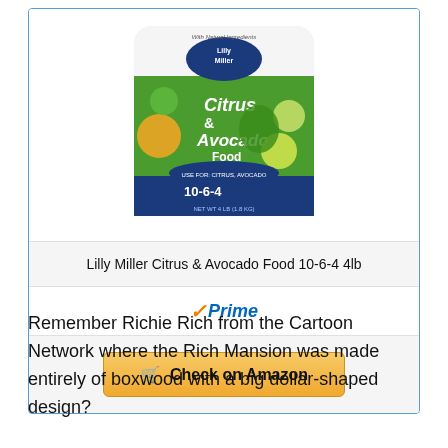[Figure (photo): Product photo of Lilly Miller Citrus & Avocado Food 10-6-4 4lb bag with white and green packaging showing citrus fruits and avocado]
Lilly Miller Citrus & Avocado Food 10-6-4 4lb
[Figure (logo): Amazon Prime logo with orange checkmark and blue italic Prime text]
Check on Amazon
Remember Richie Rich from the Cartoon Network where the Rich Mansion was made entirely of boxwood with a big dollar-shaped design?